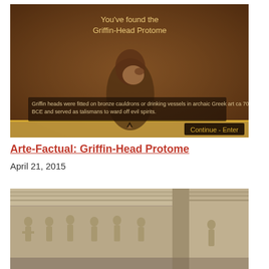[Figure (screenshot): Video game screenshot showing a Griffin-Head Protome artifact discovery screen with dark brownish background, a character figure, and text reading 'You've found the Griffin-Head Protome' and a description about griffin heads in archaic Greek art.]
Arte-Factual: Griffin-Head Protome
April 21, 2015
[Figure (photo): Photo of ancient Greek architectural frieze with carved relief figures on a stone structure, showing columns and relief sculptures of human figures.]